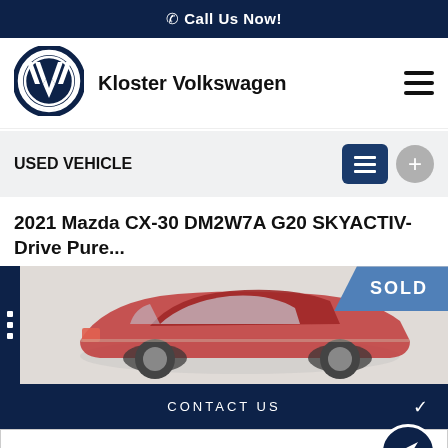📞 Call Us Now!
[Figure (logo): Volkswagen VW circular logo in dark navy blue]
Kloster Volkswagen
USED VEHICLE
2021 Mazda CX-30 DM2W7A G20 SKYACTIV-Drive Pure...
[Figure (photo): Side/rear view of a red 2021 Mazda CX-30 SUV with a SOLD ribbon overlay in the top-right corner]
CONTACT US
FINANCE THIS VEHICLE